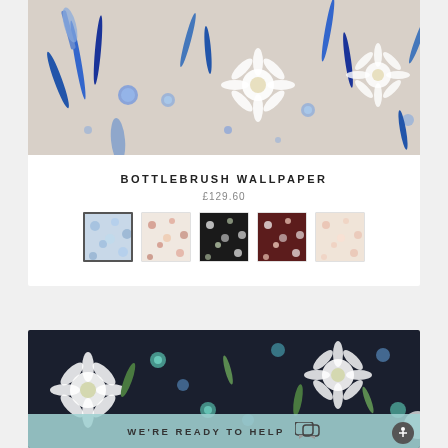[Figure (photo): Bottlebrush wallpaper product image — blue botanical floral pattern on beige/grey background with blue leaves, white daisy-like flowers, and round blue flowers]
BOTTLEBRUSH WALLPAPER
£129.60
[Figure (photo): Five color swatch thumbnails for the wallpaper: blue/white on grey (selected), pink/red on cream, dark/black with small flowers, dark red/burgundy with flowers, peach/pink on cream]
[Figure (photo): Bottlebrush wallpaper in dark navy colorway with white daisy flowers, teal and blue smaller flowers, and green leaves]
WE'RE READY TO HELP